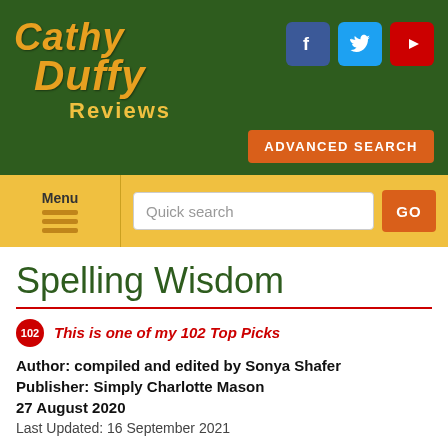[Figure (logo): Cathy Duffy Reviews logo with social media icons (Facebook, Twitter, YouTube) and Advanced Search button on dark green background]
Menu | Quick search | GO
Spelling Wisdom
This is one of my 102 Top Picks
Author: compiled and edited by Sonya Shafer
Publisher: Simply Charlotte Mason
27 August 2020
Last Updated: 16 September 2021